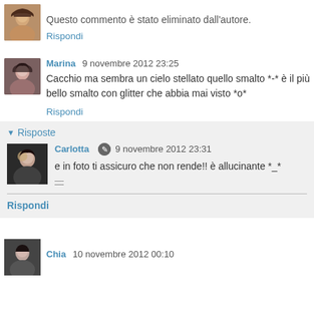Questo commento è stato eliminato dall'autore.
Rispondi
Marina 9 novembre 2012 23:25
Cacchio ma sembra un cielo stellato quello smalto *-* è il più bello smalto con glitter che abbia mai visto *o*
Rispondi
Risposte
Carlotta 9 novembre 2012 23:31
e in foto ti assicuro che non rende!! è allucinante *_*
Rispondi
Chia 10 novembre 2012 00:10